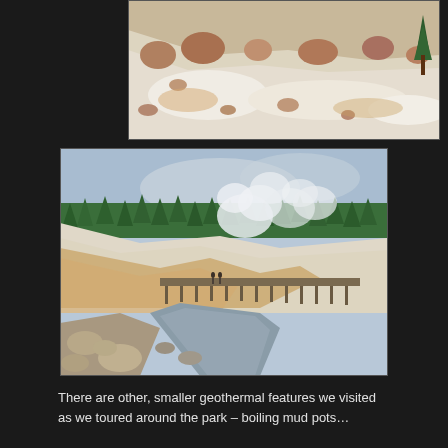[Figure (photo): Geothermal landscape with white chalky ground, large boulders and rocks on a hillside, sparse pine trees visible on the right edge, bright daylight]
[Figure (photo): Geothermal area with steam venting from white and orange mineral-stained hillsides, a wooden boardwalk bridge crossing a stream in the middle distance, dense pine forest on ridge in background, rocky stream bed in foreground]
There are other, smaller geothermal features we visited as we toured around the park – boiling mud pots…